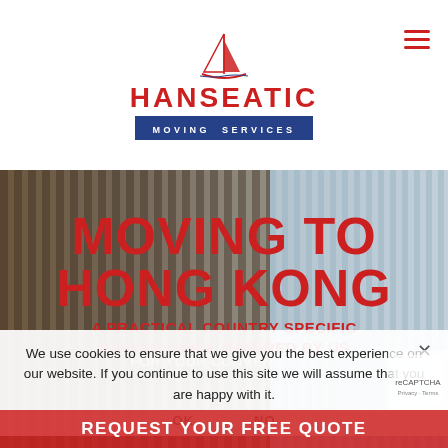[Figure (logo): Hanseatic Moving Services logo with red sailboat icon, red HANSEATIC text, and blue banner reading MOVING SERVICES]
[Figure (photo): Background photo of Hong Kong skyscrapers, showing a brown/tan building with horizontal lines on the left and a glass curtain-wall building on the right]
MOVING TO HONG KONG
A PRACTICAL COUNTRY SPECIFIC MOVING GUIDE OFFERED BY US FOR YOUR CONVENIENCE
We use cookies to ensure that we give you the best experience on our website. If you continue to use this site we will assume that you are happy with it.
OK    NO
REQUEST YOUR FREE QUOTE